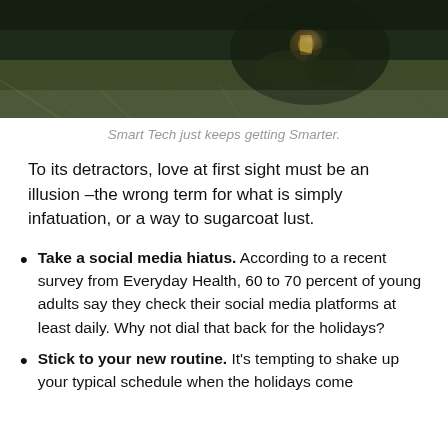[Figure (photo): Partial view of a soldier or person in camouflage gear with a lantern, surrounded by dry grass and foliage, dark and moody lighting.]
Smart Tech just keeps getting Smarter.
To its detractors, love at first sight must be an illusion –the wrong term for what is simply infatuation, or a way to sugarcoat lust.
Take a social media hiatus. According to a recent survey from Everyday Health, 60 to 70 percent of young adults say they check their social media platforms at least daily. Why not dial that back for the holidays?
Stick to your new routine. It's tempting to shake up your typical schedule when the holidays come